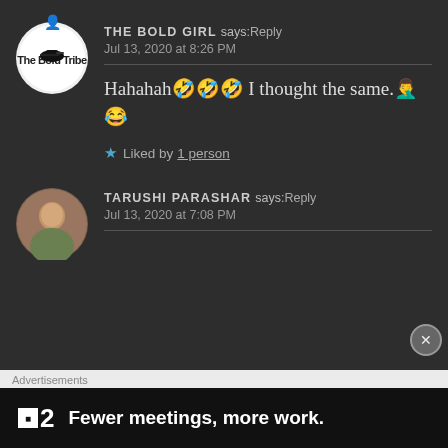THE BOLD GIRL says: Reply
Jul 13, 2020 at 8:26 PM

Hahahahah🤣🤣🤣 I thought the same.🤦😂

★ Liked by 1 person
TARUSHI PARASHAR says: Reply
Jul 13, 2020 at 7:08 PM
Advertisements
■2  Fewer meetings, more work.